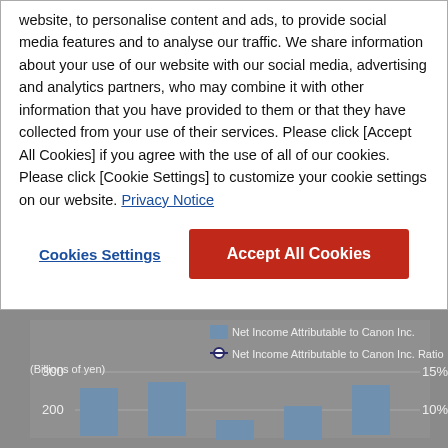website, to personalise content and ads, to provide social media features and to analyse our traffic. We share information about your use of our website with our social media, advertising and analytics partners, who may combine it with other information that you have provided to them or that they have collected from your use of their services. Please click [Accept All Cookies] if you agree with the use of all of our cookies. Please click [Cookie Settings] to customize your cookie settings on our website. Privacy Notice
Cookies Settings
Accept All Cookies
[Figure (bar-chart): Partially visible bar chart showing Net Income Attributable to Canon Inc. (bars) and Net Income Attributable to Canon Inc. Ratio (line), with y-axis labels 200 and 300, and secondary axis labels 10% and 15%.]